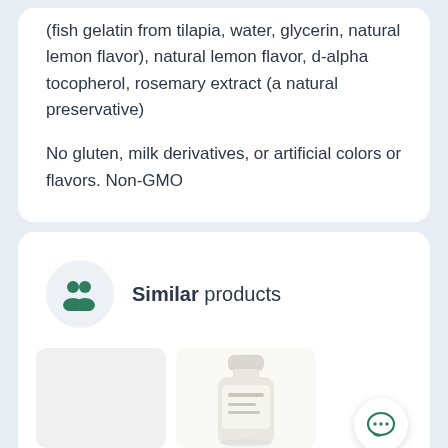(fish gelatin from tilapia, water, glycerin, natural lemon flavor), natural lemon flavor, d-alpha tocopherol, rosemary extract (a natural preservative)
No gluten, milk derivatives, or artificial colors or flavors. Non-GMO
Similar products
[Figure (photo): A supplement bottle (white cap, light colored bottle) visible from mid-section upward, partially cut off at bottom of page.]